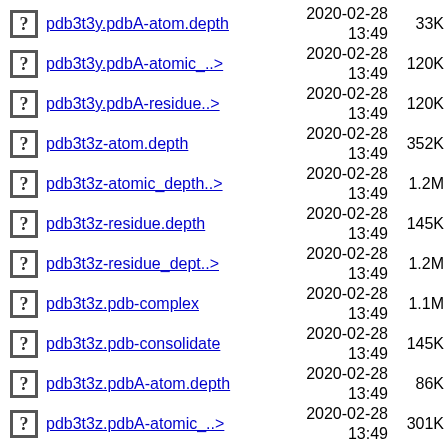pdb3t3y.pdbA-atom.depth  2020-02-28 13:49  33K
pdb3t3y.pdbA-atomic_..>  2020-02-28 13:49  120K
pdb3t3y.pdbA-residue..>  2020-02-28 13:49  120K
pdb3t3z-atom.depth  2020-02-28 13:49  352K
pdb3t3z-atomic_depth..>  2020-02-28 13:49  1.2M
pdb3t3z-residue.depth  2020-02-28 13:49  145K
pdb3t3z-residue_dept..>  2020-02-28 13:49  1.2M
pdb3t3z.pdb-complex  2020-02-28 13:49  1.1M
pdb3t3z.pdb-consolidate  2020-02-28 13:49  145K
pdb3t3z.pdbA-atom.depth  2020-02-28 13:49  86K
pdb3t3z.pdbA-atomic_..>  2020-02-28 13:49  301K
pdb3t3z.pdbA-residue..  2020-02-28